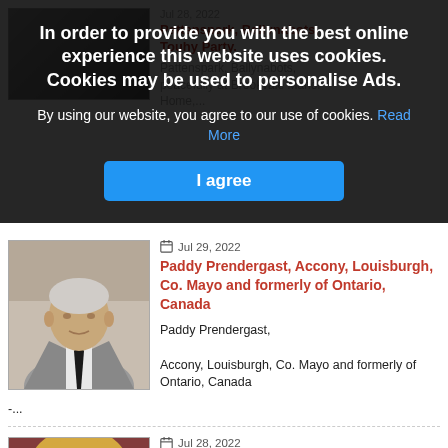In order to provide you with the best online experience this website uses cookies. Cookies may be used to personalise Ads.
By using our website, you agree to our use of cookies. Read More
I agree
[Figure (photo): Photo of Paddy Prendergast, an elderly man in a grey suit with a dark tie]
Jul 29, 2022
Paddy Prendergast, Accony, Louisburgh, Co. Mayo and formerly of Ontario, Canada
Paddy Prendergast,

Accony, Louisburgh, Co. Mayo and formerly of Ontario, Canada

-...
[Figure (photo): Partial photo of Mary Calvey nee Sheridan, a woman with blonde hair]
Jul 28, 2022
Mary Calvey nee Sheridan, The Elms, Westport, Co. Mayo & formerly of Quilee...